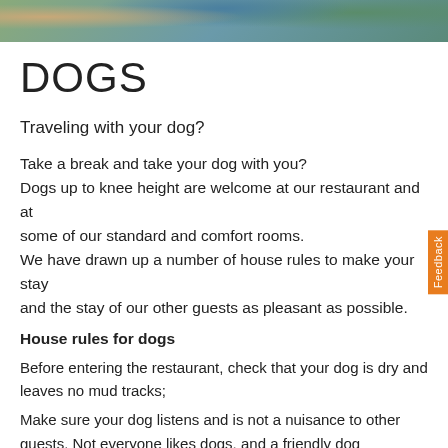[Figure (photo): Photo banner showing people with dogs outdoors, green and blue tones]
DOGS
Traveling with your dog?
Take a break and take your dog with you? Dogs up to knee height are welcome at our restaurant and at some of our standard and comfort rooms. We have drawn up a number of house rules to make your stay and the stay of our other guests as pleasant as possible.
House rules for dogs
Before entering the restaurant, check that your dog is dry and leaves no mud tracks;
Make sure your dog listens and is not a nuisance to other guests. Not everyone likes dogs, and a friendly dog salutation finds too much of a good thing;
Never let your dog lie loose or walk through the restaurant.